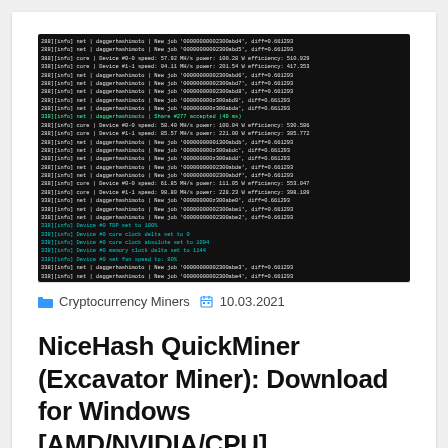[Figure (screenshot): Terminal/console screenshot showing NiceHash mining software (daggerhashimoto) log output with green/cyan text on black background, showing device speeds, power consumption, efficiency values, job hashes, and fan speed settings.]
Cryptocurrency Miners  10.03.2021
NiceHash QuickMiner (Excavator Miner): Download for Windows [AMD/NVIDIA/CPU]